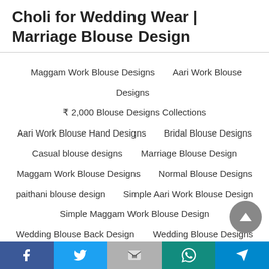Choli for Wedding Wear | Marriage Blouse Design
Maggam Work Blouse Designs
Aari Work Blouse Designs
₹ 2,000 Blouse Designs Collections
Aari Work Blouse Hand Designs
Bridal Blouse Designs
Casual blouse designs
Marriage Blouse Design
Maggam Work Blouse Designs
Normal Blouse Designs
paithani blouse design
Simple Aari Work Blouse Design
Simple Maggam Work Blouse Design
Wedding Blouse Back Design
Wedding Blouse Designs
Facebook | Twitter | Gmail | WhatsApp | Telegram